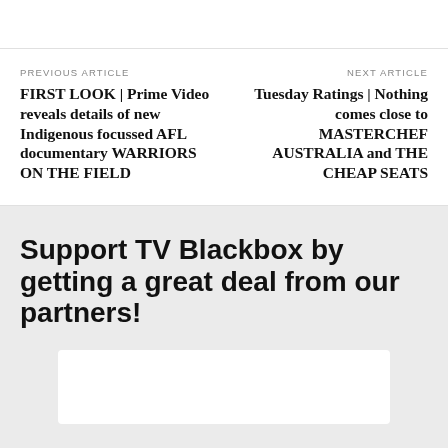PREVIOUS ARTICLE
FIRST LOOK | Prime Video reveals details of new Indigenous focussed AFL documentary WARRIORS ON THE FIELD
NEXT ARTICLE
Tuesday Ratings | Nothing comes close to MASTERCHEF AUSTRALIA and THE CHEAP SEATS
Support TV Blackbox by getting a great deal from our partners!